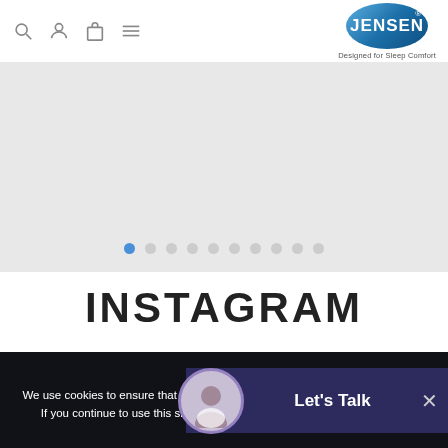Jensen - Designed for Sleep Comfort - navigation header with search, account, cart, and menu icons
[Figure (screenshot): Gray slider/carousel area with pagination dots, first dot active (blue), nine inactive dots]
INSTAGRAM
We use cookies to ensure that we give you the best experience on our website. If you continue to use this site we will assume that you are happy with it.
Ok
[Figure (other): Let's Talk chat widget with avatar photo and close button]